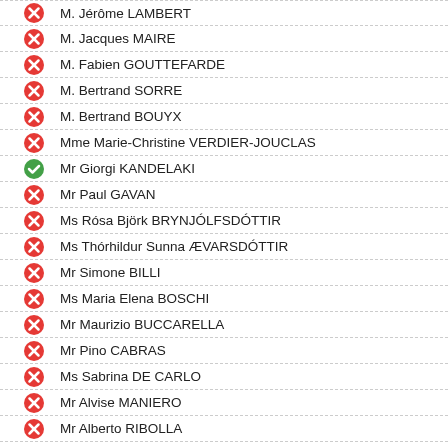M. Jérôme LAMBERT
M. Jacques MAIRE
M. Fabien GOUTTEFARDE
M. Bertrand SORRE
M. Bertrand BOUYX
Mme Marie-Christine VERDIER-JOUCLAS
Mr Giorgi KANDELAKI
Mr Paul GAVAN
Ms Rósa Björk BRYNJÓLFSDÓTTIR
Ms Thórhildur Sunna ÆVARSDÓTTIR
Mr Simone BILLI
Ms Maria Elena BOSCHI
Mr Maurizio BUCCARELLA
Mr Pino CABRAS
Ms Sabrina DE CARLO
Mr Alvise MANIERO
Mr Alberto RIBOLLA